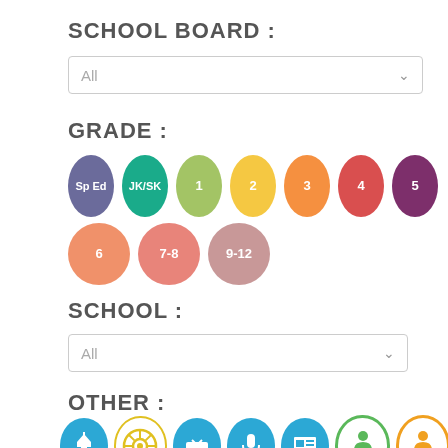SCHOOL BOARD :
All (dropdown)
GRADE :
[Figure (infographic): Grade filter circles: Sp Ed (purple), JK/SK (teal), 1 (light green), 2 (yellow), 3 (orange), 4 (red), 5 (dark purple), 6 (salmon), 7-8 (pink), 9-12 (mauve)]
SCHOOL :
All (dropdown)
OTHER :
[Figure (infographic): Other filter icons: church, rotary, TV, microphone, newspaper, green circle person, colorful circle person (partially visible)]